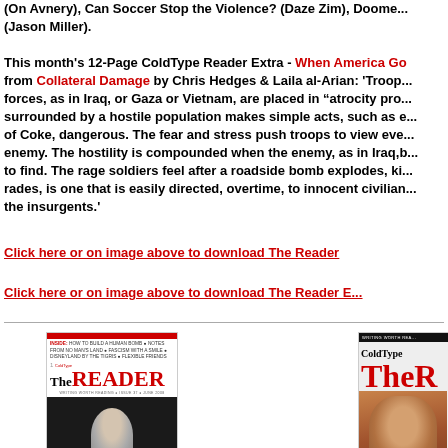(On Avnery), Can Soccer Stop the Violence? (Daze Zim), Doome... (Jason Miller).
This month's 12-Page ColdType Reader Extra - When America Go... from Collateral Damage by Chris Hedges & Laila al-Arian: 'Troo... forces, as in Iraq, or Gaza or Vietnam, are placed in “atrocity pro... surrounded by a hostile population makes simple acts, such as e... of Coke, dangerous. The fear and stress push troops to view eve... enemy. The hostility is compounded when the enemy, as in Iraq,b... to find. The rage soldiers feel after a roadside bomb explodes, ki... rades, is one that is easily directed, overtime, to innocent civilian... the insurgents.'
Click here or on image above to download The Reader
Click here or on image above to download The Reader E...
[Figure (photo): Cover of ColdType TheREADER magazine, Issue 37, June 2008. Red top bar, inside text about articles, large red READER title, black and white photo of a person.]
[Figure (photo): Partial cover of ColdType The Reader, showing red title letters and a face photo.]